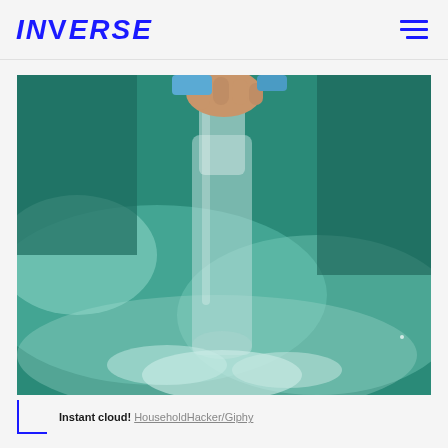INVERSE
[Figure (photo): A hand gripping the neck of a clear glass bottle submerged in green-tinted water, with white mist/cloud visible around the bottle indicating an instant cloud effect.]
Instant cloud! HouseholdHacker/Giphy